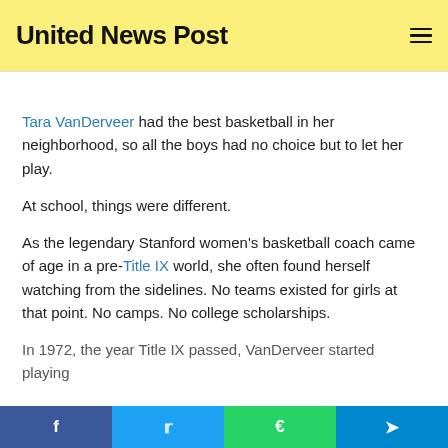United News Post
Tara VanDerveer had the best basketball in her neighborhood, so all the boys had no choice but to let her play.
At school, things were different.
As the legendary Stanford women's basketball coach came of age in a pre-Title IX world, she often found herself watching from the sidelines. No teams existed for girls at that point. No camps. No college scholarships.
In 1972, the year Title IX passed, VanDerveer started playing